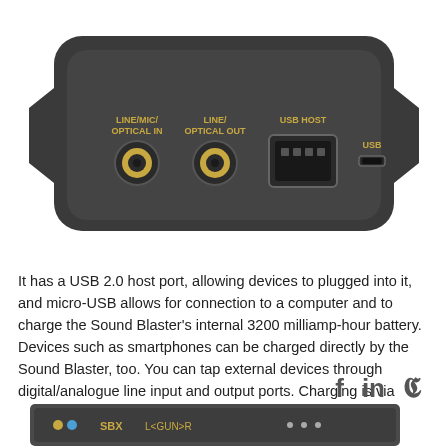[Figure (photo): Back panel of a Sound Blaster device showing LINE/MIC/OPTICAL IN port, LINE/OPTICAL OUT port, USB HOST port, and USB micro port, on a dark grey housing with gold/yellow connector labels]
It has a USB 2.0 host port, allowing devices to plugged into it, and micro-USB allows for connection to a computer and to charge the Sound Blaster's internal 3200 milliamp-hour battery. Devices such as smartphones can be charged directly by the Sound Blaster, too. You can tap external devices through digital/analogue line input and output ports. Charging is via micro-USB.
[Figure (photo): Bottom portion of a Sound Blaster device showing front panel with power/bluetooth indicators, SBX label, L<GUN>R controls, and dot indicators, on dark grey housing. A grey scroll-to-top button appears in the bottom right.]